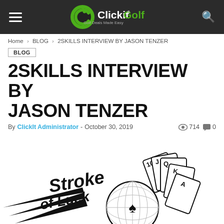ClickitGolf — Golf Deals Made Easy
Home › BLOG › 2SKILLS INTERVIEW BY JASON TENZER
BLOG
2SKILLS INTERVIEW BY JASON TENZER
By ClickIt Administrator - October 30, 2019   714   0
[Figure (illustration): Stroke of Luck logo: stylized text reading 'Stroke of Luck' with a golf ball in motion and a hand of playing cards (10, J, Q, K, A) fanned out above it, registered trademark symbol, black and white illustration.]